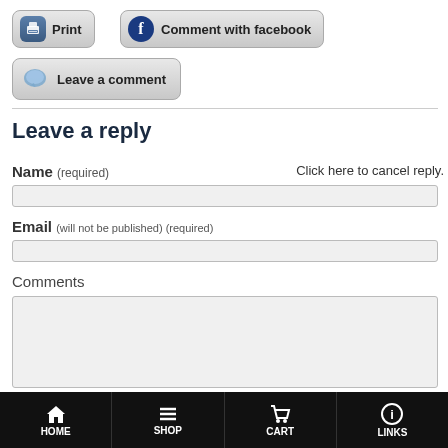[Figure (screenshot): Print button with printer icon]
[Figure (screenshot): Comment with facebook button with Facebook icon]
[Figure (screenshot): Leave a comment button with speech bubble icon]
Leave a reply
Name (required)
Click here to cancel reply.
Email (will not be published) (required)
Comments
HOME   SHOP   CART   LINKS